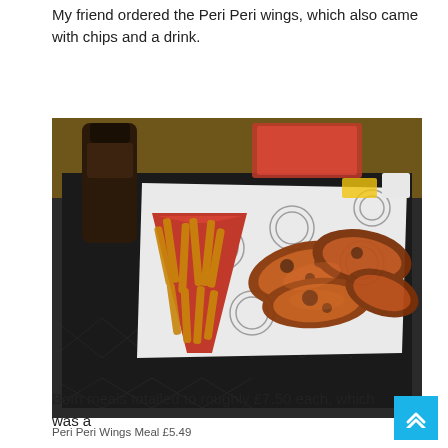My friend ordered the Peri Peri wings, which also came with chips and a drink.
[Figure (photo): A tray of Peri Peri chicken wings served on branded paper liner alongside a red cone of chips/fries, with a dark drink bottle and condiment packets visible in the background on a dark tray.]
Peri Peri Wings Meal £5.49
Both meals totalled to roughly £7.50 each, which was a